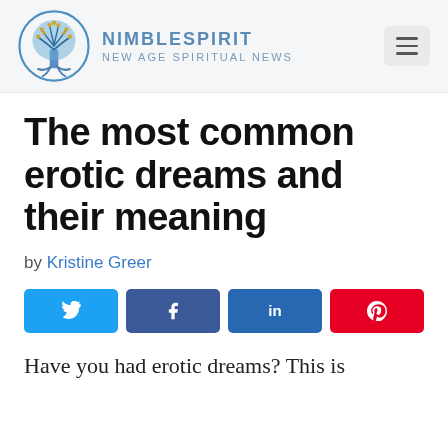NIMBLESPIRIT — New Age Spiritual News
The most common erotic dreams and their meaning
by Kristine Greer
[Figure (infographic): Social share buttons: Twitter (blue), Facebook (dark blue), LinkedIn (dark blue), Pinterest (red)]
Have you had erotic dreams? This is